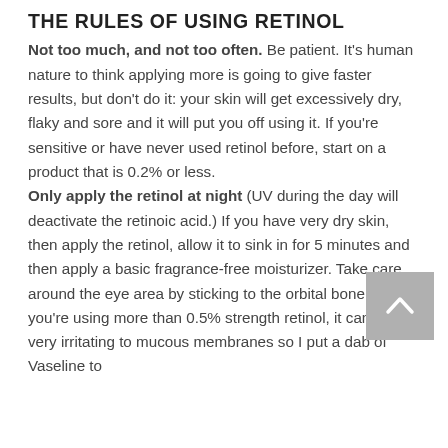THE RULES OF USING RETINOL
Not too much, and not too often. Be patient. It's human nature to think applying more is going to give faster results, but don't do it: your skin will get excessively dry, flaky and sore and it will put you off using it. If you're sensitive or have never used retinol before, start on a product that is 0.2% or less. Only apply the retinol at night (UV during the day will deactivate the retinoic acid.) If you have very dry skin, then apply the retinol, allow it to sink in for 5 minutes and then apply a basic fragrance-free moisturizer. Take care around the eye area by sticking to the orbital bone. If you're using more than 0.5% strength retinol, it can be very irritating to mucous membranes so I put a dab of Vaseline to